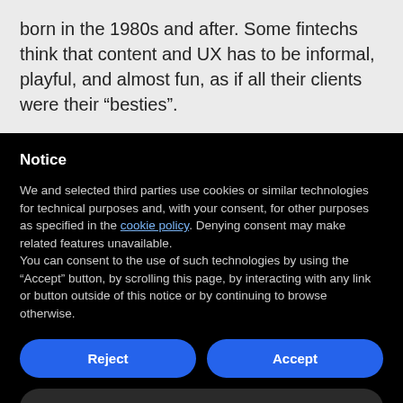born in the 1980s and after. Some fintechs think that content and UX has to be informal, playful, and almost fun, as if all their clients were their “besties”.
Notice
We and selected third parties use cookies or similar technologies for technical purposes and, with your consent, for other purposes as specified in the cookie policy. Denying consent may make related features unavailable.
You can consent to the use of such technologies by using the “Accept” button, by scrolling this page, by interacting with any link or button outside of this notice or by continuing to browse otherwise.
Reject
Accept
Learn more and customize